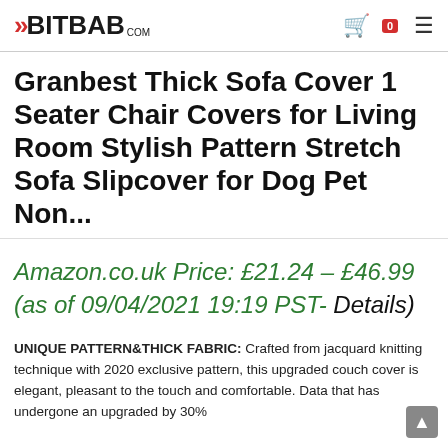BITBAB.COM — navigation header with logo, cart (0), and menu
Granbest Thick Sofa Cover 1 Seater Chair Covers for Living Room Stylish Pattern Stretch Sofa Slipcover for Dog Pet Non...
Amazon.co.uk Price: £21.24 – £46.99 (as of 09/04/2021 19:19 PST- Details)
UNIQUE PATTERN&THICK FABRIC: Crafted from jacquard knitting technique with 2020 exclusive pattern, this upgraded couch cover is elegant, pleasant to the touch and comfortable. Data that has undergone an upgraded by 30%...